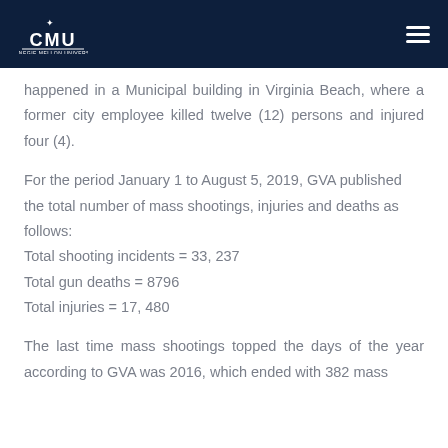CMU
happened in a Municipal building in Virginia Beach, where a former city employee killed twelve (12) persons and injured four (4).
For the period January 1 to August 5, 2019, GVA published the total number of mass shootings, injuries and deaths as follows: Total shooting incidents = 33, 237 Total gun deaths = 8796 Total injuries = 17, 480
The last time mass shootings topped the days of the year according to GVA was 2016, which ended with 382 mass